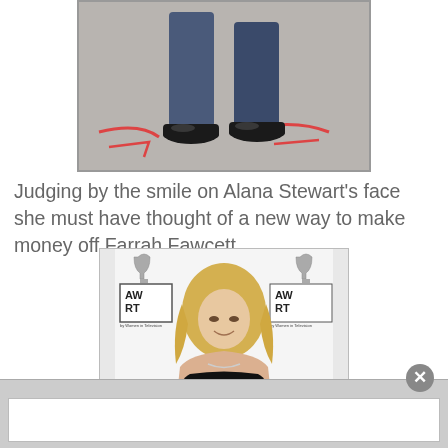[Figure (photo): Photo showing the lower half of a person wearing jeans and dark sneakers, standing on pavement with red markings.]
Judging by the smile on Alana Stewart's face she must have thought of a new way to make money off Farrah Fawcett.
[Figure (photo): Photo of a blonde woman wearing a black dress standing at an AWRT awards event backdrop.]